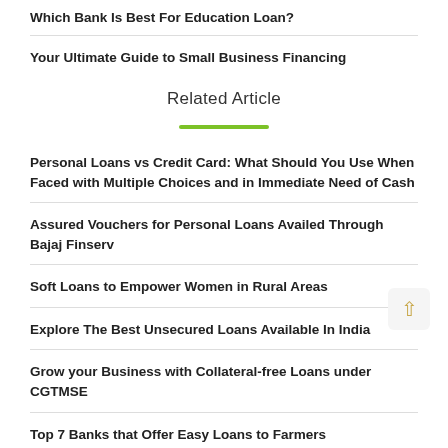Which Bank Is Best For Education Loan?
Your Ultimate Guide to Small Business Financing
Related Article
Personal Loans vs Credit Card: What Should You Use When Faced with Multiple Choices and in Immediate Need of Cash
Assured Vouchers for Personal Loans Availed Through Bajaj Finserv
Soft Loans to Empower Women in Rural Areas
Explore The Best Unsecured Loans Available In India
Grow your Business with Collateral-free Loans under CGTMSE
Top 7 Banks that Offer Easy Loans to Farmers